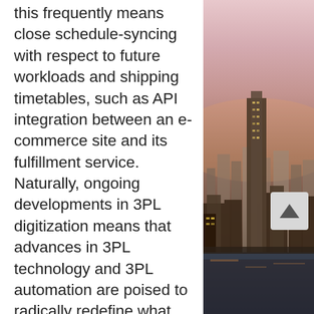this frequently means close schedule-syncing with respect to future workloads and shipping timetables, such as API integration between an e-commerce site and its fulfillment service. Naturally, ongoing developments in 3PL digitization means that advances in 3PL technology and 3PL automation are poised to radically redefine what kinds of logistical support a 3PL firm can provide (and what new expectations their clients will demand).
How will digital technology change the 3PL industry?
VIEW ARTICLE.
-------------------------------
Join governments, ports, shipping,
[Figure (photo): Aerial cityscape photo of a major city skyline at dusk/dawn with warm pink and orange hues, showing high-rise buildings and a waterway]